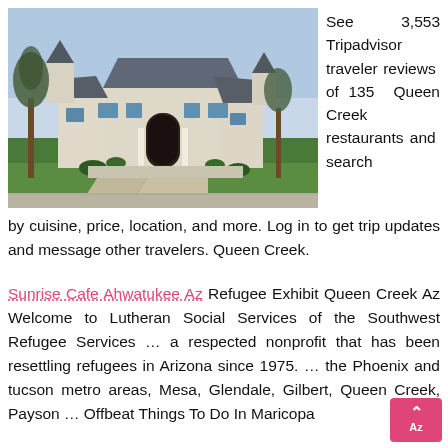[Figure (photo): Exterior photo of a large luxury home with stone facade, trees in front yard, green lawn, and concrete driveway on a clear day.]
See 3,553 Tripadvisor traveler reviews of 135 Queen Creek restaurants and search by cuisine, price, location, and more. Log in to get trip updates and message other travelers. Queen Creek.
Sunrise Cafe Ahwatukee Az Refugee Exhibit Queen Creek Az Welcome to Lutheran Social Services of the Southwest Refugee Services … a respected nonprofit that has been resettling refugees in Arizona since 1975. … the Phoenix and tucson metro areas, Mesa, Glendale, Gilbert, Queen Creek, Payson … Offbeat Things To Do In Maricopa…